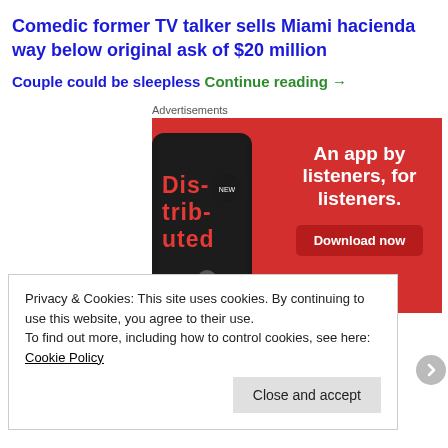Comedic former TV talker sells Miami hacienda way below original ask of $20 million
Couple could be sleepless Continue reading →
Advertisements
[Figure (other): Advertisement banner for a podcast app showing a smartphone with 'Dis-trib-uted' text on screen. Red background with white text: 'An app by listeners, for listeners.' and a Download now button.]
Privacy & Cookies: This site uses cookies. By continuing to use this website, you agree to their use.
To find out more, including how to control cookies, see here: Cookie Policy
Close and accept